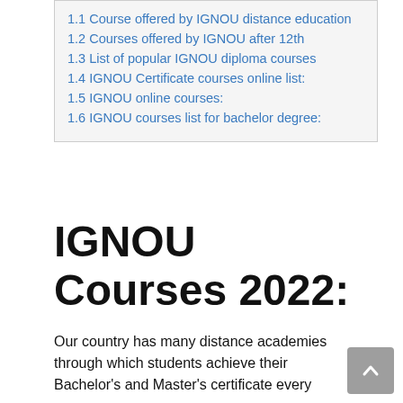1.1 Course offered by IGNOU distance education
1.2 Courses offered by IGNOU after 12th
1.3 List of popular IGNOU diploma courses
1.4 IGNOU Certificate courses online list:
1.5 IGNOU online courses:
1.6 IGNOU courses list for bachelor degree:
IGNOU Courses 2022:
Our country has many distance academies through which students achieve their Bachelor's and Master's certificate every year.